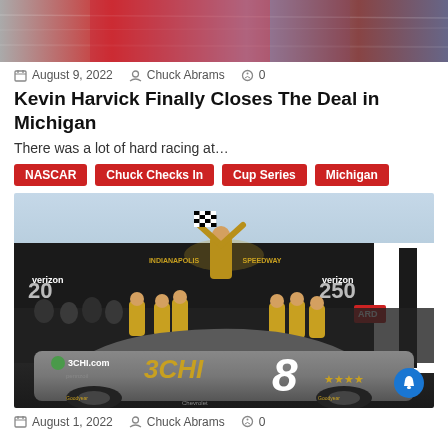[Figure (photo): Blurred action shot of a NASCAR race car on track, partially visible at top of page]
August 9, 2022  Chuck Abrams  0
Kevin Harvick Finally Closes The Deal in Michigan
There was a lot of hard racing at…
NASCAR
Chuck Checks In
Cup Series
Michigan
[Figure (photo): Victory lane celebration photo: A NASCAR driver raises checkered flags above a No. 8 3CHI-sponsored race car at Indianapolis Motor Speedway, surrounded by celebrating crew members in gold and black uniforms. Verizon branding visible on backdrop.]
August 1, 2022  Chuck Abrams  0